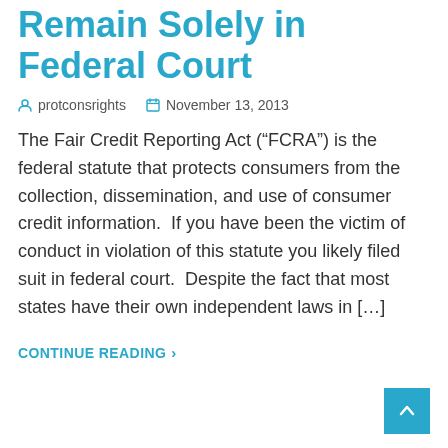Remain Solely in Federal Court
protconsrights   November 13, 2013
The Fair Credit Reporting Act (“FCRA”) is the federal statute that protects consumers from the collection, dissemination, and use of consumer credit information.  If you have been the victim of conduct in violation of this statute you likely filed suit in federal court.  Despite the fact that most states have their own independent laws in […]
CONTINUE READING ›